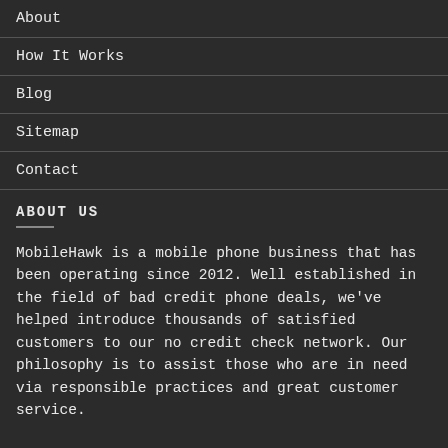About
How It Works
Blog
Sitemap
Contact
ABOUT US
MobileHawk is a mobile phone business that has been operating since 2012. Well established in the field of bad credit phone deals, we've helped introduce thousands of satisfied customers to our no credit check network. Our philosophy is to assist those who are in need via responsible practices and great customer service.